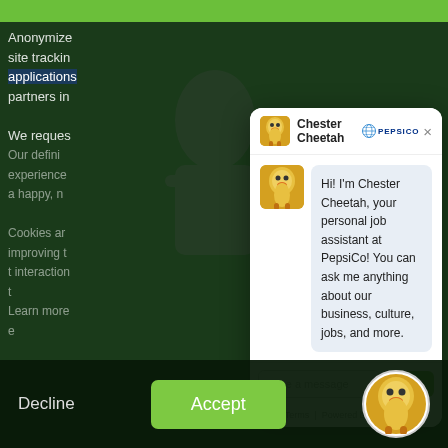Anonymize site tracking applications partners in
[Figure (screenshot): Chester Cheetah chatbot modal popup for PepsiCo job assistant with message input and send button]
Hi! I'm Chester Cheetah, your personal job assistant at PepsiCo! You can ask me anything about our business, culture, jobs, and more.
Type a message
Terms | Powered by Paradox
Decline
Accept